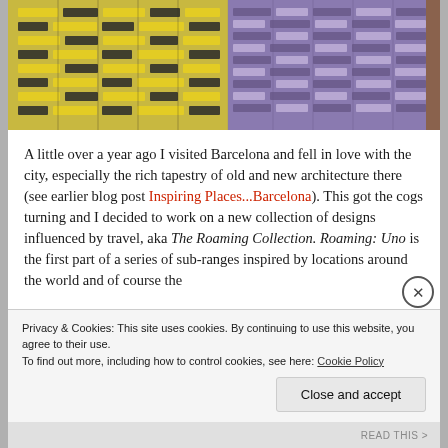[Figure (photo): Close-up photograph of two woven textile samples side by side: yellow/black/white woven pattern on the left, purple/white woven pattern on the right, with a wooden frame visible on the right edge.]
A little over a year ago I visited Barcelona and fell in love with the city, especially the rich tapestry of old and new architecture there (see earlier blog post Inspiring Places...Barcelona). This got the cogs turning and I decided to work on a new collection of designs influenced by travel, aka The Roaming Collection. Roaming: Uno is the first part of a series of sub-ranges inspired by locations around the world and of course the
Privacy & Cookies: This site uses cookies. By continuing to use this website, you agree to their use.
To find out more, including how to control cookies, see here: Cookie Policy
Close and accept